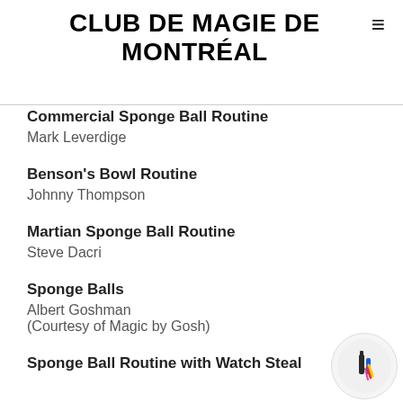CLUB DE MAGIE DE MONTRÉAL
Commercial Sponge Ball Routine
Mark Leverdige
Benson's Bowl Routine
Johnny Thompson
Martian Sponge Ball Routine
Steve Dacri
Sponge Balls
Albert Goshman
(Courtesy of Magic by Gosh)
Sponge Ball Routine with Watch Steal